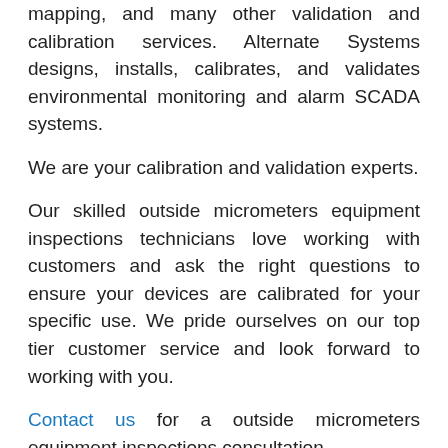mapping, and many other validation and calibration services. Alternate Systems designs, installs, calibrates, and validates environmental monitoring and alarm SCADA systems.
We are your calibration and validation experts.
Our skilled outside micrometers equipment inspections technicians love working with customers and ask the right questions to ensure your devices are calibrated for your specific use. We pride ourselves on our top tier customer service and look forward to working with you.
Contact us for a outside micrometers equipment inspections consultation.
We provide outside micrometers equipment